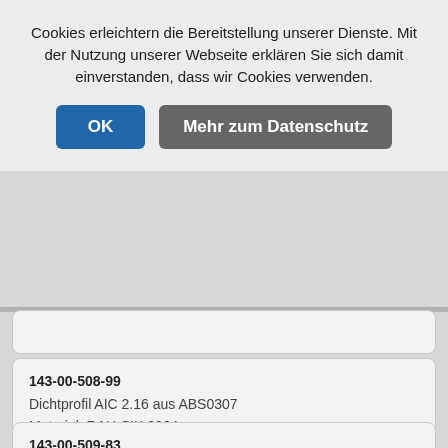Cookies erleichtern die Bereitstellung unserer Dienste. Mit der Nutzung unserer Webseite erklären Sie sich damit einverstanden, dass wir Cookies verwenden.
OK
Mehr zum Datenschutz
143-00-508-99
Dichtprofil AIC 2.16 aus ABS0307
Material: RAU-SIK 8964
143-00-509-83
Dichtprofil AIC 2.11 aus ABS0307
Material: RAU-SIK 8964